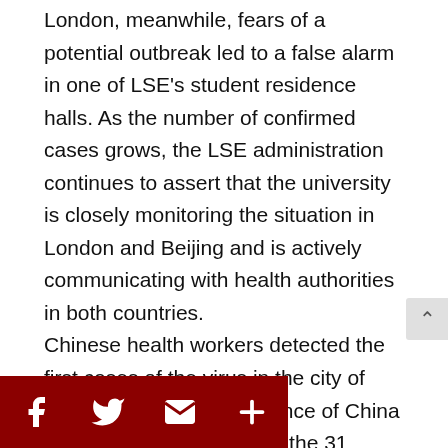London, meanwhile, fears of a potential outbreak led to a false alarm in one of LSE's student residence halls. As the number of confirmed cases grows, the LSE administration continues to assert that the university is closely monitoring the situation in London and Beijing and is actively communicating with health authorities in both countries.
Chinese health workers detected the first cases of the virus in the city of Wuhan in the Hubei Province of China in early December and by the 31 January, the NHS had confirmed the first tw cases of 2019-nCoV in the UK (they are now three). That same day, the WHO declared the
[Figure (other): Social sharing buttons: Facebook, Twitter, Email, More (plus icon), all dark red/maroon colored]